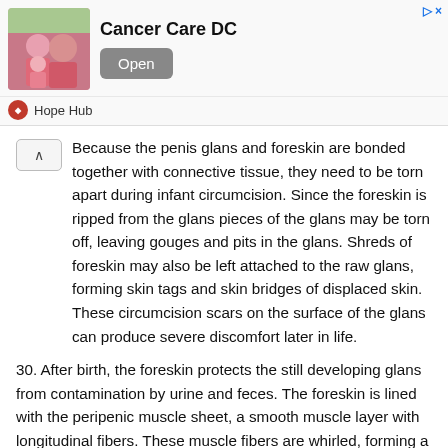[Figure (photo): Advertisement banner for Cancer Care DC with a photo of people in pink shirts, an Open button, and Hope Hub branding below.]
Because the penis glans and foreskin are bonded together with connective tissue, they need to be torn apart during infant circumcision. Since the foreskin is ripped from the glans pieces of the glans may be torn off, leaving gouges and pits in the glans. Shreds of foreskin may also be left attached to the raw glans, forming skin tags and skin bridges of displaced skin. These circumcision scars on the surface of the glans can produce severe discomfort later in life.
30. After birth, the foreskin protects the still developing glans from contamination by urine and feces. The foreskin is lined with the peripenic muscle sheet, a smooth muscle layer with longitudinal fibers. These muscle fibers are whirled, forming a kind of sphincter